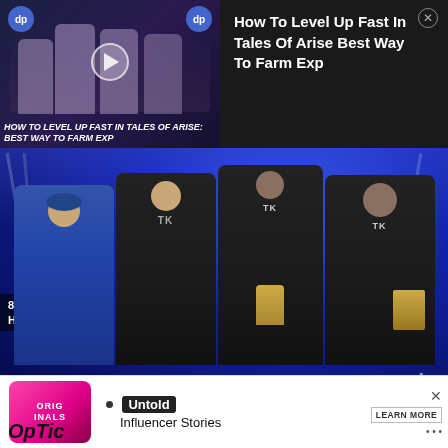[Figure (screenshot): Video thumbnail ad for 'How To Level Up Fast In Tales Of Arise Best Way To Farm Exp' with play button overlay and dark gaming aesthetic]
How To Level Up Fast In Tales Of Arise Best Way To Farm Exp
[Figure (photo): Four esports players in TK team jerseys posing on stage at MLG CWL No-Champions event under blue lighting, one holding a trophy]
Chino (far right) will make his CDL debut during Florida's event and could be exactly what OGLA were missing.
[Figure (screenshot): Advertisement banner for Untold Influencer Stories with Originals logo]